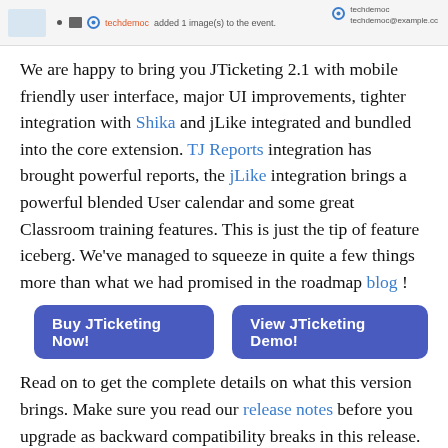techdemoc added 1 image(s) to the event. techdemoc techdemoc@example.com
We are happy to bring you JTicketing 2.1 with mobile friendly user interface, major UI improvements, tighter integration with Shika and jLike integrated and bundled into the core extension. TJ Reports integration has brought powerful reports, the jLike integration brings a powerful blended User calendar and some great Classroom training features. This is just the tip of feature iceberg. We've managed to squeeze in quite a few things more than what we had promised in the roadmap blog !
Buy JTicketing Now!
View JTicketing Demo!
Read on to get the complete details on what this version brings. Make sure you read our release notes before you upgrade as backward compatibility breaks in this release.